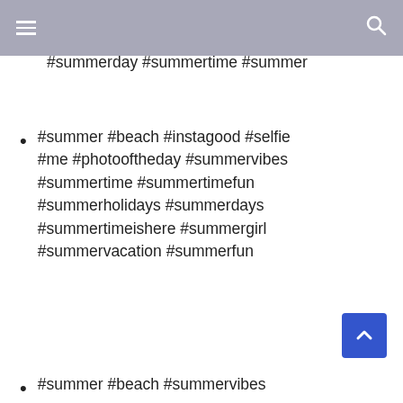#summervacation #summertime #summerfun #summervibes #summerday #summertime #summer
#summer #beach #instagood #selfie #me #photooftheday #summervibes #summertime #summertimefun #summerholidays #summerdays #summertimeishere #summergirl #summervacation #summerfun
#summer #beach #summervibes